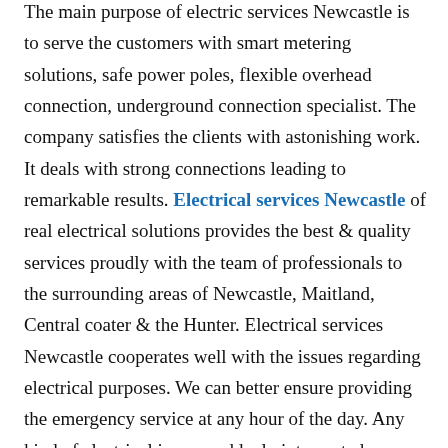The main purpose of electric services Newcastle is to serve the customers with smart metering solutions, safe power poles, flexible overhead connection, underground connection specialist. The company satisfies the clients with astonishing work. It deals with strong connections leading to remarkable results. Electrical services Newcastle of real electrical solutions provides the best & quality services proudly with the team of professionals to the surrounding areas of Newcastle, Maitland, Central coater & the Hunter. Electrical services Newcastle cooperates well with the issues regarding electrical purposes. We can better ensure providing the emergency service at any hour of the day. Any kind of electrical issues suddenly interrupted your power supply at your residence, our team of best professionals monitoring the least defect to major issue puts you in the comfort zone. From underground power connections to MPD installation, the electrical